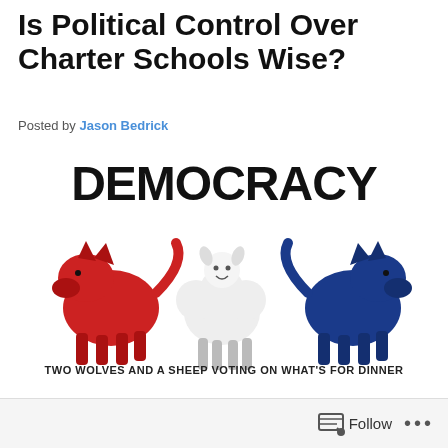Is Political Control Over Charter Schools Wise?
Posted by Jason Bedrick
[Figure (illustration): Book cover image showing the word DEMOCRACY in large bold black letters at the top, with three animals below: a red wolf on the left, a white sheep in the center, and a blue wolf on the right. Below the animals text reads: TWO WOLVES AND A SHEEP VOTING ON WHAT'S FOR DINNER]
Follow ...